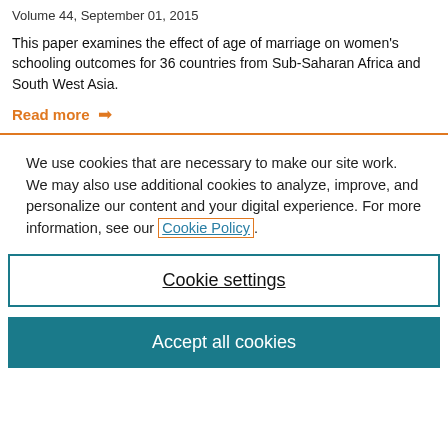Volume 44, September 01, 2015
This paper examines the effect of age of marriage on women's schooling outcomes for 36 countries from Sub-Saharan Africa and South West Asia.
Read more →
We use cookies that are necessary to make our site work. We may also use additional cookies to analyze, improve, and personalize our content and your digital experience. For more information, see our Cookie Policy.
Cookie settings
Accept all cookies